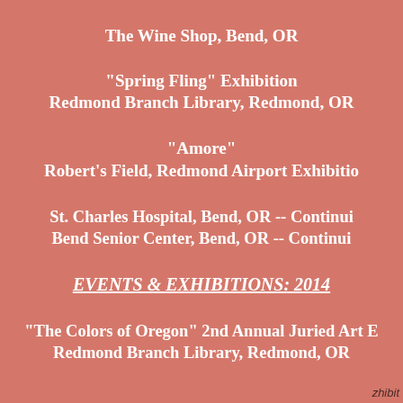The Wine Shop, Bend, OR
"Spring Fling" Exhibition
Redmond Branch Library, Redmond, OR
"Amore"
Robert's Field, Redmond Airport Exhibition
St. Charles Hospital, Bend, OR -- Continuing
Bend Senior Center, Bend, OR -- Continuing
EVENTS & EXHIBITIONS: 2014
"The Colors of Oregon" 2nd Annual Juried Art E
Redmond Branch Library, Redmond, OR